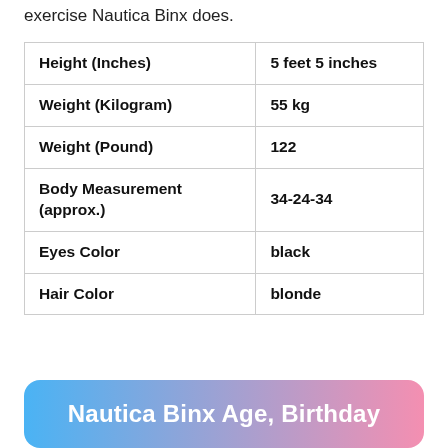exercise Nautica Binx does.
| Height (Inches) | 5 feet 5 inches |
| Weight (Kilogram) | 55 kg |
| Weight (Pound) | 122 |
| Body Measurement (approx.) | 34-24-34 |
| Eyes Color | black |
| Hair Color | blonde |
Nautica Binx Age, Birthday